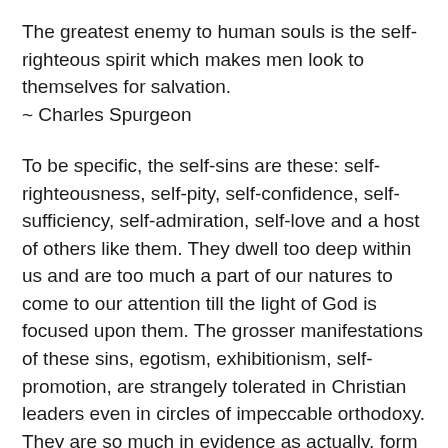The greatest enemy to human souls is the self-righteous spirit which makes men look to themselves for salvation.
~ Charles Spurgeon
To be specific, the self-sins are these: self-righteousness, self-pity, self-confidence, self-sufficiency, self-admiration, self-love and a host of others like them. They dwell too deep within us and are too much a part of our natures to come to our attention till the light of God is focused upon them. The grosser manifestations of these sins, egotism, exhibitionism, self-promotion, are strangely tolerated in Christian leaders even in circles of impeccable orthodoxy. They are so much in evidence as actually, form any people, to become identified with the gospel.